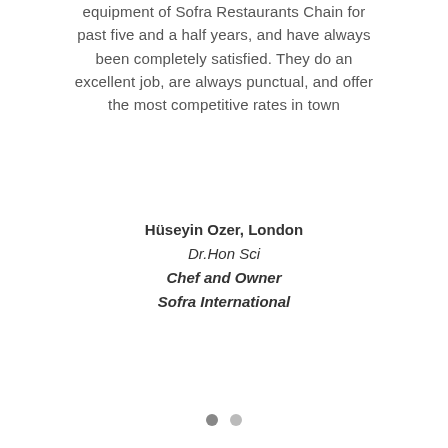equipment of Sofra Restaurants Chain for past five and a half years, and have always been completely satisfied. They do an excellent job, are always punctual, and offer the most competitive rates in town
Hüseyin Ozer, London
Dr.Hon Sci
Chef and Owner
Sofra International